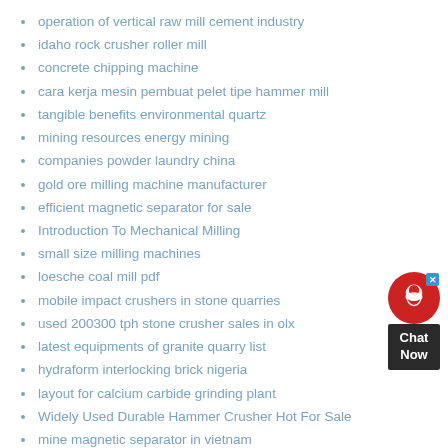operation of vertical raw mill cement industry
idaho rock crusher roller mill
concrete chipping machine
cara kerja mesin pembuat pelet tipe hammer mill
tangible benefits environmental quartz
mining resources energy mining
companies powder laundry china
gold ore milling machine manufacturer
efficient magnetic separator for sale
Introduction To Mechanical Milling
small size milling machines
loesche coal mill pdf
mobile impact crushers in stone quarries
used 200300 tph stone crusher sales in olx
latest equipments of granite quarry list
hydraform interlocking brick nigeria
layout for calcium carbide grinding plant
Widely Used Durable Hammer Crusher Hot For Sale
mine magnetic separator in vietnam
used grape destemmer for sale
[Figure (other): Chat Now widget with red circle headset icon and dark label box]